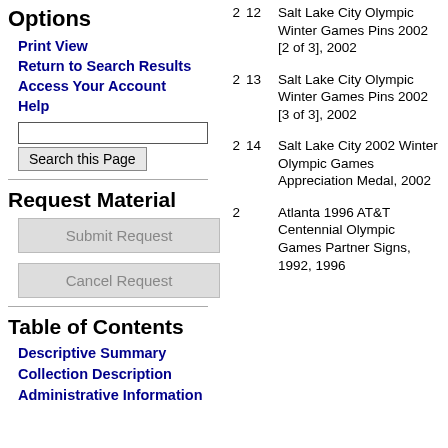Options
Print View
Return to Search Results
Access Your Account
Help
Request Material
Table of Contents
Descriptive Summary
Collection Description
Administrative Information
| Box | Folder | Description |
| --- | --- | --- |
| 2 | 12 | Salt Lake City Olympic Winter Games Pins 2002 [2 of 3], 2002 |
| 2 | 13 | Salt Lake City Olympic Winter Games Pins 2002 [3 of 3], 2002 |
| 2 | 14 | Salt Lake City 2002 Winter Olympic Games Appreciation Medal, 2002 |
| 2 |  | Atlanta 1996 AT&T Centennial Olympic Games Partner Signs, 1992, 1996 |